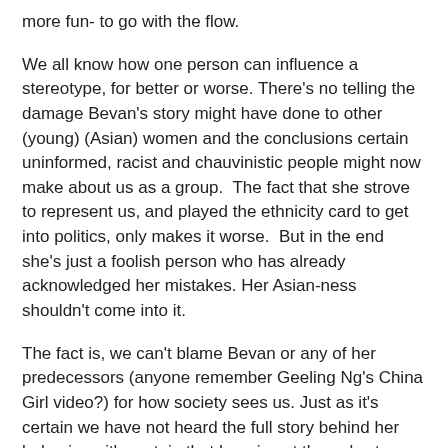more fun- to go with the flow.
We all know how one person can influence a stereotype, for better or worse. There's no telling the damage Bevan's story might have done to other (young) (Asian) women and the conclusions certain uninformed, racist and chauvinistic people might now make about us as a group.  The fact that she strove to represent us, and played the ethnicity card to get into politics, only makes it worse.  But in the end she's just a foolish person who has already acknowledged her mistakes. Her Asian-ness shouldn't come into it.
The fact is, we can't blame Bevan or any of her predecessors (anyone remember Geeling Ng's China Girl video?) for how society sees us. Just as it's certain we have not heard the full story behind her behaviour, it's certain that hers is not the only story we have to tell. The rabid public reaction is no reflection on Bevan, but rather a reflection of NZ society and how far we yet have to go. And so, for my fellow Asians reading this, I have a challenge: we can't change our faces, but we can change the way people see us. Get out there. Do it. Tell your own story and be yourself.